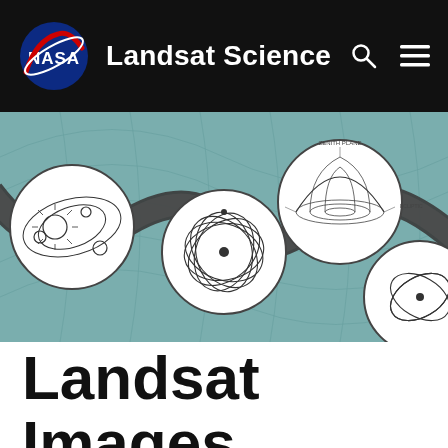NASA Landsat Science
[Figure (illustration): Banner image showing a teal/slate-blue map background with a dark sinusoidal wave ribbon and four circular orbital/diagram illustrations overlaid on it, depicting satellite orbital mechanics and Earth observation geometries]
Landsat Images Provided to